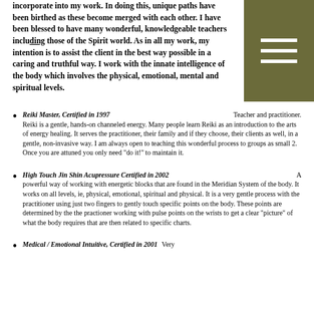incorporate into my work. In doing this, unique paths have been birthed as these become merged with each other. I have been blessed to have many wonderful, knowledgeable teachers including those of the Spirit world. As in all my work, my intention is to assist the client in the best way possible in a caring and truthful way. I work with the innate intelligence of the body which involves the physical, emotional, mental and spiritual levels.
[Figure (other): Olive/dark yellow square with three horizontal white lines (hamburger menu icon)]
Reiki Master, Certified in 1997    Teacher and practitioner. Reiki is a gentle, hands-on channeled energy. Many people learn Reiki as an introduction to the arts of energy healing. It serves the practitioner, their family and if they choose, their clients as well, in a gentle, non-invasive way. I am always open to teaching this wonderful process to groups as small 2. Once you are attuned you only need "do it!" to maintain it.
High Touch Jin Shin Acupressure Certified in 2002    A powerful way of working with energetic blocks that are found in the Meridian System of the body. It works on all levels, ie, physical, emotional, spiritual and physical. It is a very gentle process with the practitioner using just two fingers to gently touch specific points on the body. These points are determined by the the practioner working with pulse points on the wrists to get a clear "picture" of what the body requires that are then related to specific charts.
Medical / Emotional Intuitive, Certified in 2001    Very...